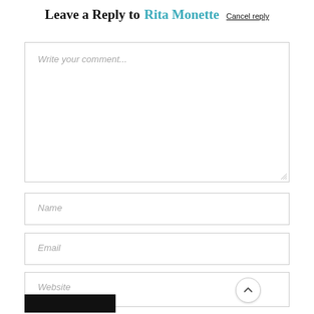Leave a Reply to Rita Monette Cancel reply
[Figure (other): Comment text area input box with placeholder text 'Write your comment...' and a resize handle]
[Figure (other): Name input field with placeholder text 'Name']
[Figure (other): Email input field with placeholder text 'Email']
[Figure (other): Website input field with placeholder text 'Website']
[Figure (other): Scroll-to-top circular button with upward chevron arrow]
[Figure (other): Black submit/post comment button at the bottom left]